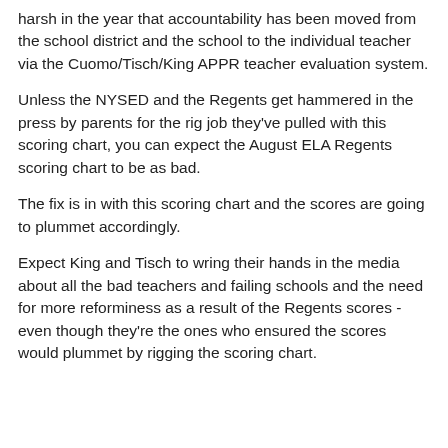harsh in the year that accountability has been moved from the school district and the school to the individual teacher via the Cuomo/Tisch/King APPR teacher evaluation system.
Unless the NYSED and the Regents get hammered in the press by parents for the rig job they've pulled with this scoring chart, you can expect the August ELA Regents scoring chart to be as bad.
The fix is in with this scoring chart and the scores are going to plummet accordingly.
Expect King and Tisch to wring their hands in the media about all the bad teachers and failing schools and the need for more reforminess as a result of the Regents scores - even though they're the ones who ensured the scores would plummet by rigging the scoring chart.